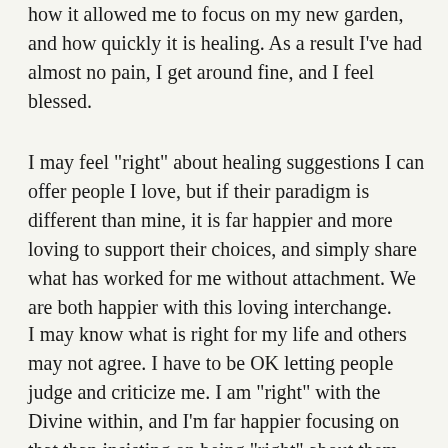how it allowed me to focus on my new garden, and how quickly it is healing. As a result I've had almost no pain, I get around fine, and I feel blessed.
I may feel "right" about healing suggestions I can offer people I love, but if their paradigm is different than mine, it is far happier and more loving to support their choices, and simply share what has worked for me without attachment. We are both happier with this loving interchange.
I may know what is right for my life and others may not agree. I have to be OK letting people judge and criticize me. I am "right" with the Divine within, and I'm far happier focusing on that than insisting on being "right" about them being "wrong" for making me wrong! What a tangled mess that can be. I like the clarity of simply focusing on what I enjoy.